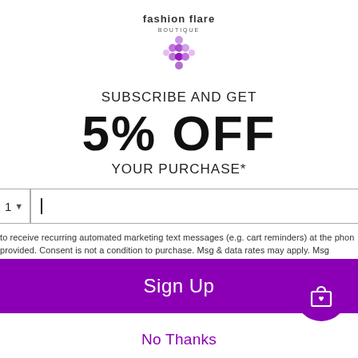[Figure (logo): Fashion Flare Boutique logo with grape/diamond cluster icon]
SUBSCRIBE AND GET
5% OFF
YOUR PURCHASE*
to receive recurring automated marketing text messages (e.g. cart reminders) at the phone provided. Consent is not a condition to purchase. Msg & data rates may apply. Msg frequently. Reply HELP for help and STOP to cancel. View our Terms of Service and Privacy Policy.
Sign Up
No Thanks